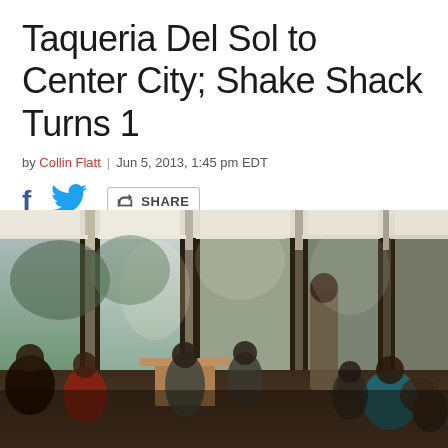Taqueria Del Sol to Center City; Shake Shack Turns 1
by Collin Flatt | Jun 5, 2013, 1:45pm EDT
[Figure (photo): Interior of a restaurant with patrons seated at tables, bright windows with white shades in the background, people dining and conversing.]